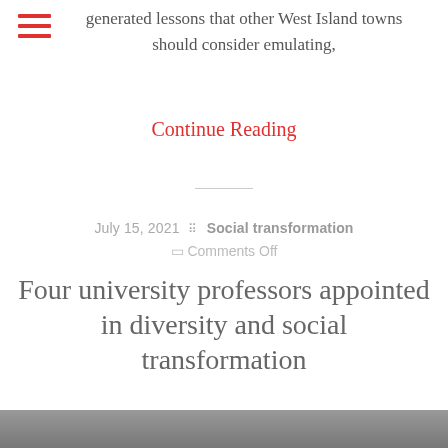generated lessons that other West Island towns should consider emulating,
Continue Reading
July 15, 2021  ⠿ Social transformation  ☐ Comments Off
Four university professors appointed in diversity and social transformation
[Figure (photo): Photo strip at bottom of page showing people's faces]